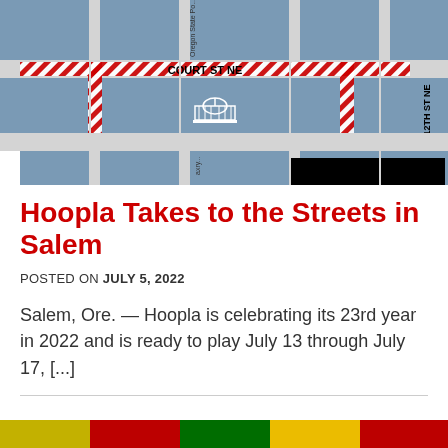[Figure (map): Street map showing downtown Salem area with Court St NE, State St, and 12th St NE labeled. Red hatched lines indicate street closures around the Oregon State Capitol building area.]
Hoopla Takes to the Streets in Salem
POSTED ON JULY 5, 2022
Salem, Ore. — Hoopla is celebrating its 23rd year in 2022 and is ready to play July 13 through July 17, [...]
[Figure (photo): Colorful bottom strip image, partially visible]